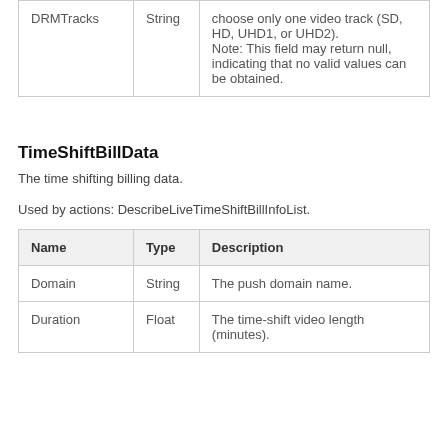| Name | Type | Description |
| --- | --- | --- |
| DRMTracks | String | choose only one video track (SD, HD, UHD1, or UHD2).
Note: This field may return null, indicating that no valid values can be obtained. |
TimeShiftBillData
The time shifting billing data.
Used by actions: DescribeLiveTimeShiftBillInfoList.
| Name | Type | Description |
| --- | --- | --- |
| Domain | String | The push domain name. |
| Duration | Float | The time-shift video length (minutes). |